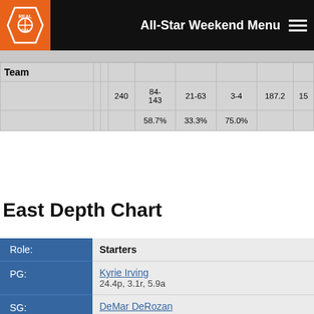All-Star Weekend Menu
| Team |  |  |  |  |  |  |  |  |
| --- | --- | --- | --- | --- | --- | --- | --- | --- |
|  |  |  | 240 | 84-143 | 21-63 | 3-4 | 187.2 | 15 |
|  |  |  |  | 58.7% | 33.3% | 75.0% |  |  |
East Depth Chart
| Role: | Starters |
| --- | --- |
| PG: | Kyrie Irving
24.4p, 3.1r, 5.9a |
| SG: | DeMar DeRozan
27.3p, 5.3r, 3.7a |
| SF: | Jimmy Butler
24.5p, 6.3r, 5a |
| PF: | LeBron James |